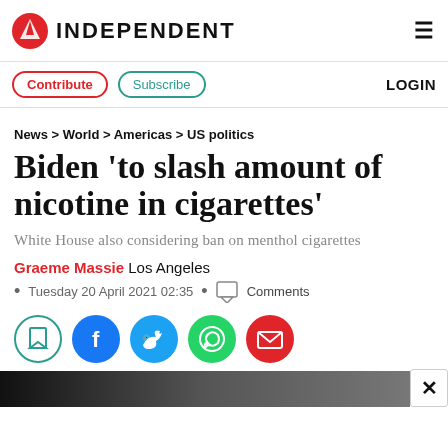INDEPENDENT
Contribute   Subscribe   LOGIN
News > World > Americas > US politics
Biden 'to slash amount of nicotine in cigarettes'
White House also considering ban on menthol cigarettes
Graeme Massie Los Angeles
Tuesday 20 April 2021 02:35 • Comments
[Figure (infographic): Social sharing icons: bookmark, Facebook, Twitter, WhatsApp, email]
[Figure (photo): Dark image strip at bottom of page with close button]